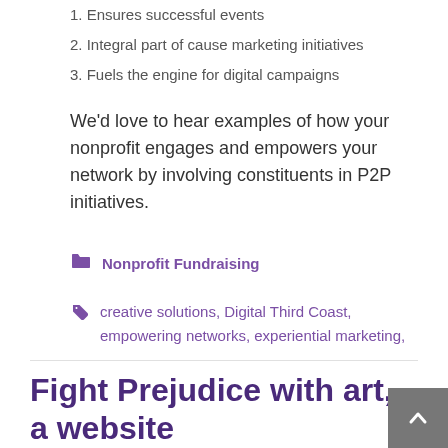1. Ensures successful events
2. Integral part of cause marketing initiatives
3. Fuels the engine for digital campaigns
We'd love to hear examples of how your nonprofit engages and empowers your network by involving constituents in P2P initiatives.
Nonprofit Fundraising
creative solutions, Digital Third Coast, empowering networks, experiential marketing, Jeff Shuck, Nonprofit event branding, nonprofit event planning, P2P, P2P Family Tree, Peer-to-Peer, Plenty Consulting
[Figure (infographic): Social sharing icons: Twitter, Facebook, Google+, Pinterest, Email, Share]
Fight Prejudice with art, a website and Facebook